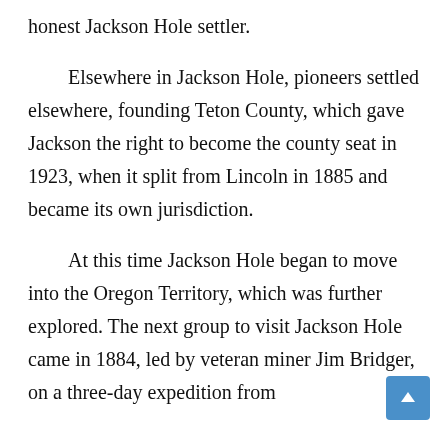honest Jackson Hole settler.
Elsewhere in Jackson Hole, pioneers settled elsewhere, founding Teton County, which gave Jackson the right to become the county seat in 1923, when it split from Lincoln in 1885 and became its own jurisdiction.
At this time Jackson Hole began to move into the Oregon Territory, which was further explored. The next group to visit Jackson Hole came in 1884, led by veteran miner Jim Bridger, on a three-day expedition from